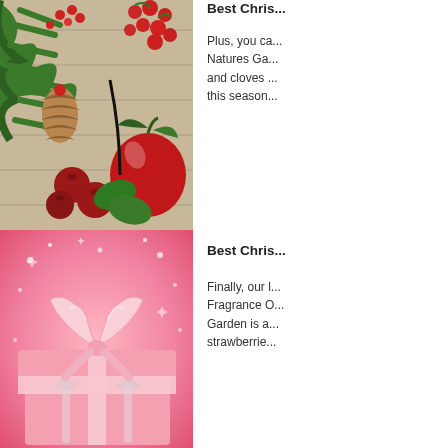[Figure (photo): Christmas arrangement with pine branches, red berries, a pinecone, red apples, cranberries, and green leaves on a wooden background]
Best Chris...
Plus, you ca... Natures Ga... and cloves ... this season...
[Figure (photo): Pink gift box with satin ribbon bow on a sparkly pink background]
Best Chris...
Finally, our l... Fragrance O... Garden is a... strawberrie...